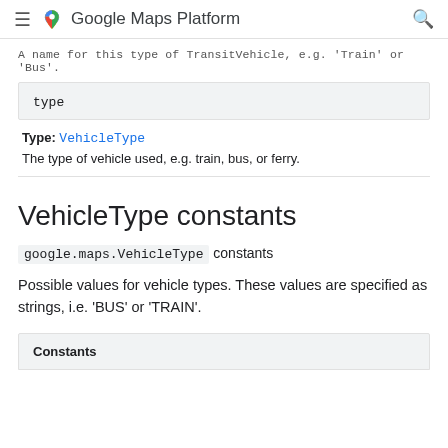Google Maps Platform
A name for this type of TransitVehicle, e.g. 'Train' or 'Bus'.
type
Type: VehicleType
The type of vehicle used, e.g. train, bus, or ferry.
VehicleType constants
google.maps.VehicleType constants
Possible values for vehicle types. These values are specified as strings, i.e. 'BUS' or 'TRAIN'.
| Constants |
| --- |